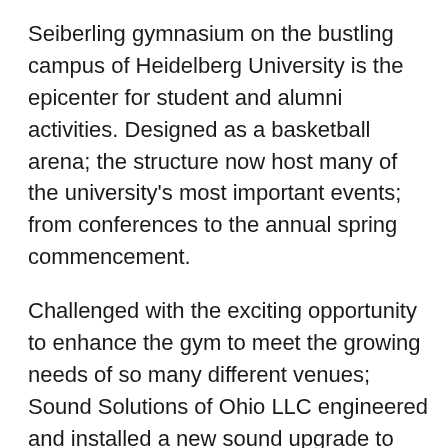Seiberling gymnasium on the bustling campus of Heidelberg University is the epicenter for student and alumni activities. Designed as a basketball arena; the structure now host many of the university's most important events; from conferences to the annual spring commencement.
Challenged with the exciting opportunity to enhance the gym to meet the growing needs of so many different venues; Sound Solutions of Ohio LLC engineered and installed a new sound upgrade to the complex featuring 12 new full range distributed loudspeakers which can be easily zoned. Installation of a new DSP